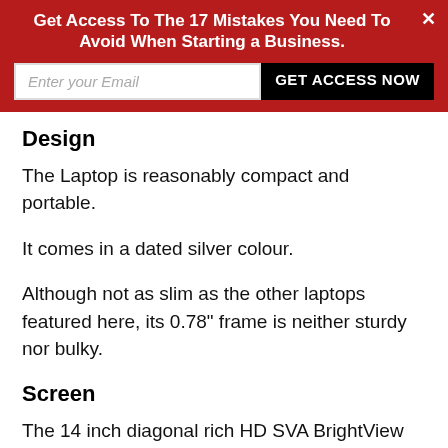Get Access To The 17 Mistakes You Need To Avoid When Starting a Business.
Design
The Laptop is reasonably compact and portable.
It comes in a dated silver colour.
Although not as slim as the other laptops featured here, its 0.78" frame is neither sturdy nor bulky.
Screen
The 14 inch diagonal rich HD SVA BrightView micro-edge 1366 x 768 Touchscreen is beautiful and